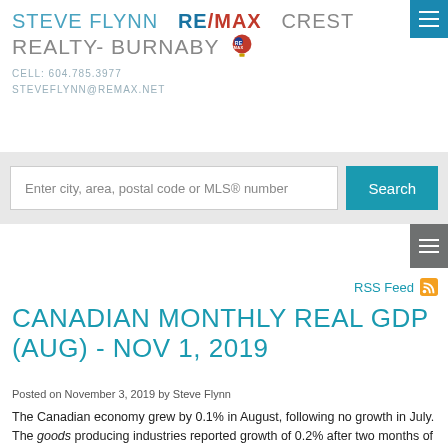STEVE FLYNN RE/MAX CREST REALTY- BURNABY CELL: 604.785.3977 STEVEFLYNN@REMAX.NET
Enter city, area, postal code or MLS® number
Search
RSS Feed
CANADIAN MONTHLY REAL GDP (AUG) - NOV 1, 2019
Posted on November 3, 2019 by Steve Flynn
The Canadian economy grew by 0.1% in August, following no growth in July. The goods producing industries reported growth of 0.2% after two months of declines, led by a rebound in manufacturing primarily due to increased sales. A decline of